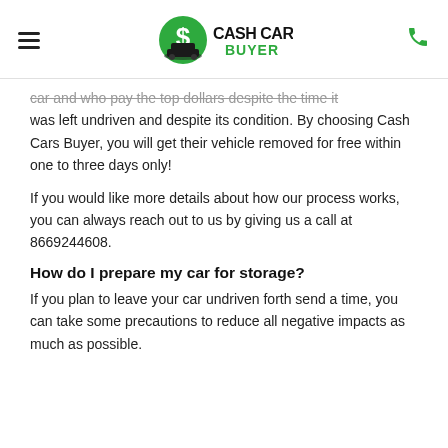Cash Cars Buyer
car and who pay the top dollars despite the time it was left undriven and despite its condition. By choosing Cash Cars Buyer, you will get their vehicle removed for free within one to three days only!
If you would like more details about how our process works, you can always reach out to us by giving us a call at 8669244608.
How do I prepare my car for storage?
If you plan to leave your car undriven forth send a time, you can take some precautions to reduce all negative impacts as much as possible.